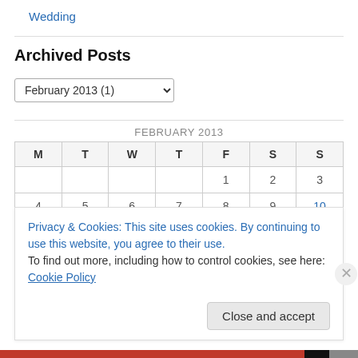Wedding
Archived Posts
February 2013 (1)
| M | T | W | T | F | S | S |
| --- | --- | --- | --- | --- | --- | --- |
|  |  |  |  | 1 | 2 | 3 |
| 4 | 5 | 6 | 7 | 8 | 9 | 10 |
| 11 | 12 | 13 | 14 | 15 | 16 | 17 |
Privacy & Cookies: This site uses cookies. By continuing to use this website, you agree to their use. To find out more, including how to control cookies, see here: Cookie Policy
Close and accept